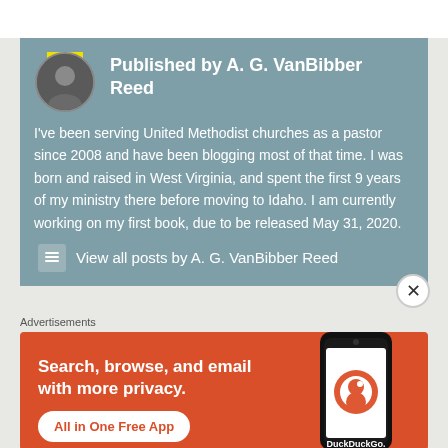Published by A. G. VanBibber Reed
I've been serving United Methodist churches as a pastor since 2008 and have been blogging most of that time. I was born and raised in West Virginia, and spent the first 9 years of my ministry there before moving to Idaho. I am currently working on my first book, due to be released May 31, 2020.
View all posts by A. G. VanBibber Reed
Advertisements
[Figure (screenshot): DuckDuckGo advertisement banner with orange background showing 'Search, browse, and email with more privacy. All in One Free App' text with a phone image and DuckDuckGo logo]